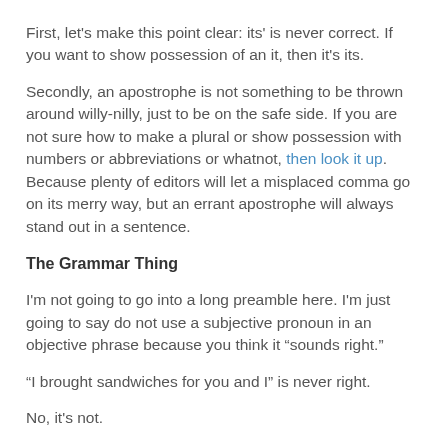First, let's make this point clear: its' is never correct. If you want to show possession of an it, then it's its.
Secondly, an apostrophe is not something to be thrown around willy-nilly, just to be on the safe side. If you are not sure how to make a plural or show possession with numbers or abbreviations or whatnot, then look it up. Because plenty of editors will let a misplaced comma go on its merry way, but an errant apostrophe will always stand out in a sentence.
The Grammar Thing
I'm not going to go into a long preamble here. I'm just going to say do not use a subjective pronoun in an objective phrase because you think it “sounds right.”
“I brought sandwiches for you and I” is never right.
No, it's not.
NO.